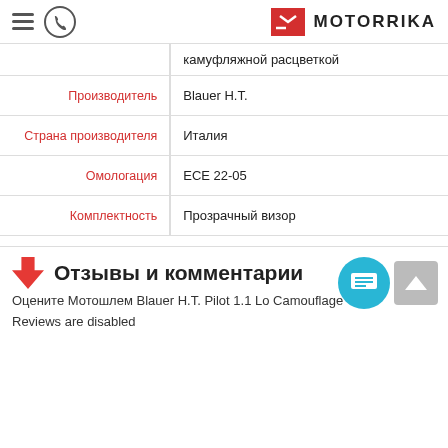MOTORRIKA
| Параметр | Значение |
| --- | --- |
| камуфляжной расцветкой |  |
| Производитель | Blauer H.T. |
| Страна производителя | Италия |
| Омологация | ECE 22-05 |
| Комплектность | Прозрачный визор |
Отзывы и комментарии
Оцените Мотошлем Blauer H.T. Pilot 1.1 Lo Camouflage
Reviews are disabled